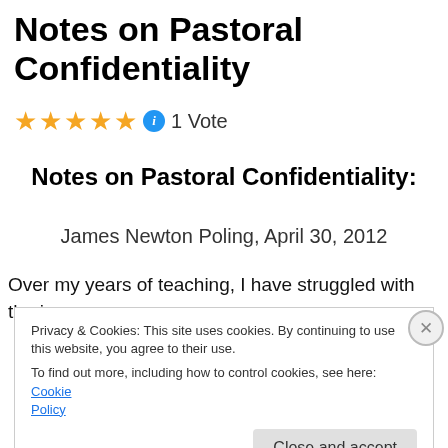Notes on Pastoral Confidentiality
★★★★★ ℹ 1 Vote
Notes on Pastoral Confidentiality:
James Newton Poling, April 30, 2012
Over my years of teaching, I have struggled with the issue
Privacy & Cookies: This site uses cookies. By continuing to use this website, you agree to their use.
To find out more, including how to control cookies, see here: Cookie Policy
Close and accept